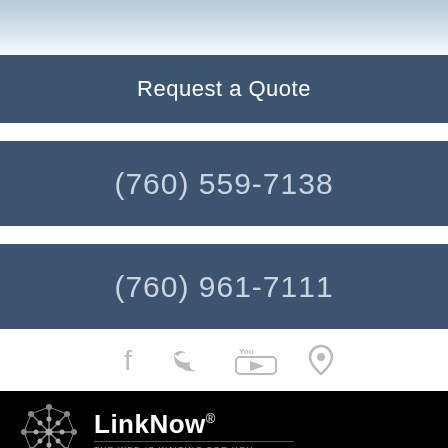[Figure (photo): Light blue/grey sky background image at top of page]
Request a Quote
(760) 559-7138
(760) 961-7111
[Figure (infographic): Social media icons row: Facebook, Twitter, YouTube, Location pin]
[Figure (logo): LinkNow logo with network icon. Text: LinkNow® THE WEB IS WAITING FOR YOU.]